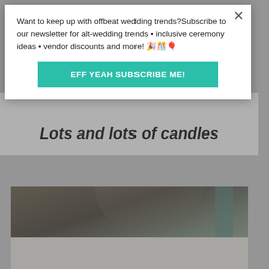Want to keep up with offbeat wedding trends?Subscribe to our newsletter for alt-wedding trends • inclusive ceremony ideas • vendor discounts and more! 🎉🎊🎈
EFF YEAH SUBSCRIBE ME!
Lots and lots of candles
[Figure (photo): A dimly lit photo showing what appears to be a venue interior with candles, partially visible at the bottom of the page.]